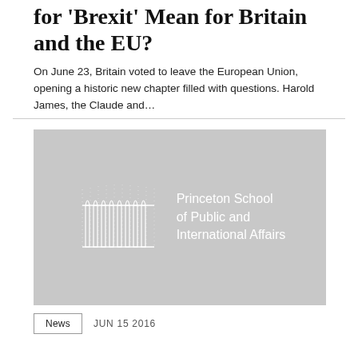for 'Brexit' Mean for Britain and the EU?
On June 23, Britain voted to leave the European Union, opening a historic new chapter filled with questions. Harold James, the Claude and...
[Figure (logo): Princeton School of Public and International Affairs logo on grey background, showing architectural columns graphic with school name text]
News  JUN 15 2016